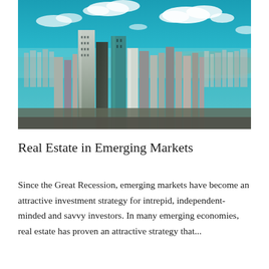[Figure (photo): Aerial cityscape photograph of a dense urban skyline with many skyscrapers and high-rise buildings under a blue sky with white clouds, depicting an emerging market city.]
Real Estate in Emerging Markets
Since the Great Recession, emerging markets have become an attractive investment strategy for intrepid, independent-minded and savvy investors. In many emerging economies, real estate has proven an attractive strategy that...